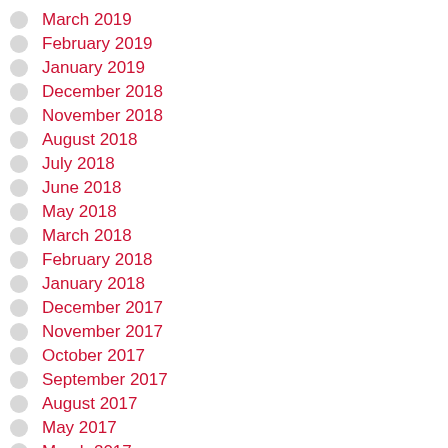March 2019
February 2019
January 2019
December 2018
November 2018
August 2018
July 2018
June 2018
May 2018
March 2018
February 2018
January 2018
December 2017
November 2017
October 2017
September 2017
August 2017
May 2017
March 2017